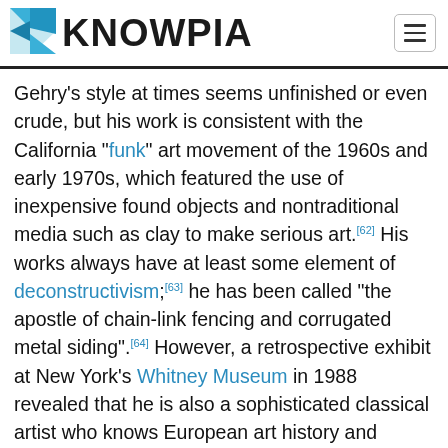KNOWPIA
Gehry’s style at times seems unfinished or even crude, but his work is consistent with the California “funk” art movement of the 1960s and early 1970s, which featured the use of inexpensive found objects and nontraditional media such as clay to make serious art.[62] His works always have at least some element of deconstructivism;[63] he has been called “the apostle of chain-link fencing and corrugated metal siding”.[64] However, a retrospective exhibit at New York’s Whitney Museum in 1988 revealed that he is also a sophisticated classical artist who knows European art history and contemporary sculpture and painting.[62]
Gallery  Edit